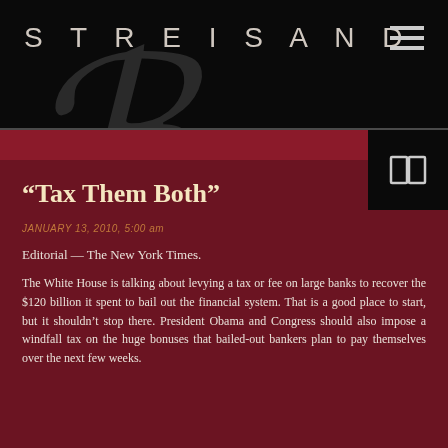STREISAND
“Tax Them Both”
JANUARY 13, 2010, 5:00 am
Editorial — The New York Times.
The White House is talking about levying a tax or fee on large banks to recover the $120 billion it spent to bail out the financial system. That is a good place to start, but it shouldn’t stop there. President Obama and Congress should also impose a windfall tax on the huge bonuses that bailed-out bankers plan to pay themselves over the next few weeks.